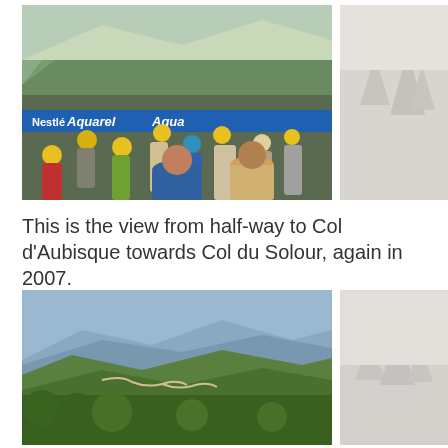[Figure (photo): Crowd of spectators with yellow caps lining a Tour de France mountain stage road, with Nestle Aquarel banners visible. Mountain backdrop with green slopes. Taken at Col d'Aubisque area in 2007.]
[Figure (photo): Faded/washed out photo on the right side, appears to show trees and landscape in mist.]
This is the view from half-way to Col d'Aubisque towards Col du Solour, again in 2007.
[Figure (photo): Mountain landscape view showing green hillsides with a winding road visible on the slopes, looking towards Col du Solour. Lush green vegetation in foreground and mountain ridges in background.]
[Figure (photo): Faded/washed out photo on the right side, appears to show trees and misty landscape.]